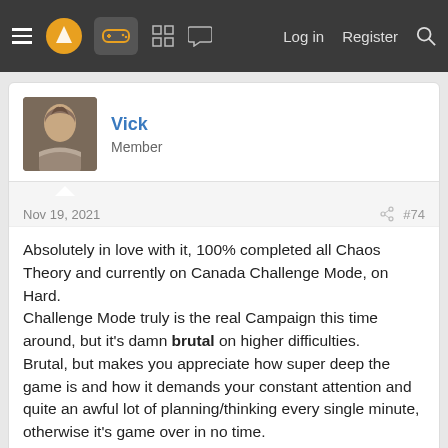Navigation bar with menu, logo, gamepad icon, grid icon, chat icon, Log in, Register, Search
Vick
Member
Nov 19, 2021  #74
Absolutely in love with it, 100% completed all Chaos Theory and currently on Canada Challenge Mode, on Hard.
Challenge Mode truly is the real Campaign this time around, but it's damn brutal on higher difficulties.
Brute, but makes you appreciate how super deep the game is and how it demands your constant attention and quite an awful lot of planning/thinking every single minute, otherwise it's game over in no time.

In short, definitely not a game i can see IGN review properly at all.